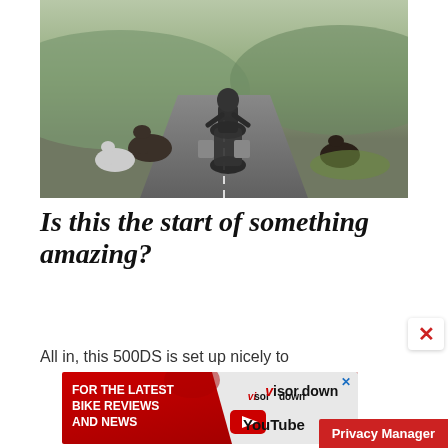[Figure (photo): A motorcyclist in full riding gear riding an adventure motorcycle on a rural road, with horses and ponies visible on both sides of the road, green hillside landscape in the background.]
Is this the start of something amazing?
All in, this 500DS is set up nicely to
[Figure (illustration): Advertisement banner for Visordown YouTube channel: red background with white bold text reading 'FOR THE LATEST BIKE REVIEWS AND NEWS', with the Visordown logo and YouTube play button logo on the right side.]
Privacy Manager